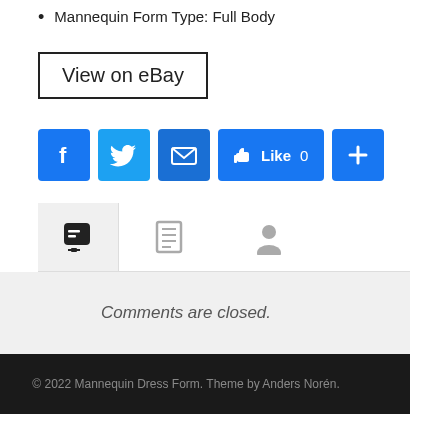Mannequin Form Type: Full Body
View on eBay
[Figure (other): Social sharing buttons: Facebook, Twitter, Email, Like 0, Plus]
[Figure (other): Tab icons: comment bubble (active), list/clipboard, person/user]
Comments are closed.
© 2022 Mannequin Dress Form. Theme by Anders Norén.